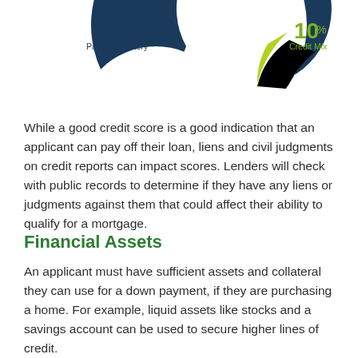[Figure (donut-chart): Partial donut chart showing credit score factors: 35% Payment History (dark blue) and 10% Credit Mix (green/lime). Only the top portion of the donut is visible.]
While a good credit score is a good indication that an applicant can pay off their loan, liens and civil judgments on credit reports can impact scores. Lenders will check with public records to determine if they have any liens or judgments against them that could affect their ability to qualify for a mortgage.
Financial Assets
An applicant must have sufficient assets and collateral they can use for a down payment, if they are purchasing a home. For example, liquid assets like stocks and a savings account can be used to secure higher lines of credit.